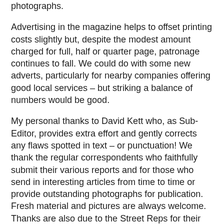photographs.
Advertising in the magazine helps to offset printing costs slightly but, despite the modest amount charged for full, half or quarter page, patronage continues to fall. We could do with some new adverts, particularly for nearby companies offering good local services – but striking a balance of numbers would be good.
My personal thanks to David Kett who, as Sub-Editor, provides extra effort and gently corrects any flaws spotted in text – or punctuation! We thank the regular correspondents who faithfully submit their various reports and for those who send in interesting articles from time to time or provide outstanding photographs for publication. Fresh material and pictures are always welcome. Thanks are also due to the Street Reps for their faithful service in delivering the magazines as well as occasionally feeding in information.
Finally, I should point up that in my reports of the last two